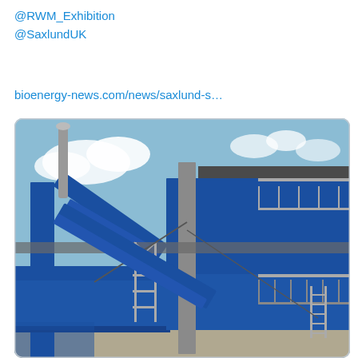@RWM_Exhibition
@SaxlundUK
bioenergy-news.com/news/saxlund-s…
[Figure (photo): Industrial construction site showing large blue steel frame structure with conveyor belts, scaffolding, metal walkways and stairs, a cylindrical chimney/stack in the background under a partly cloudy blue sky.]